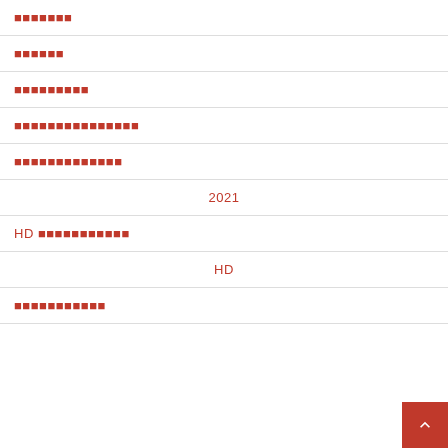▓▓▓▓▓▓▓
▓▓▓▓▓▓
▓▓▓▓▓▓▓▓▓
▓▓▓▓▓▓▓▓▓▓▓▓▓▓▓
▓▓▓▓▓▓▓▓▓▓▓▓▓
2021
HD ▓▓▓▓▓▓▓▓▓▓▓
HD
▓▓▓▓▓▓▓▓▓▓▓